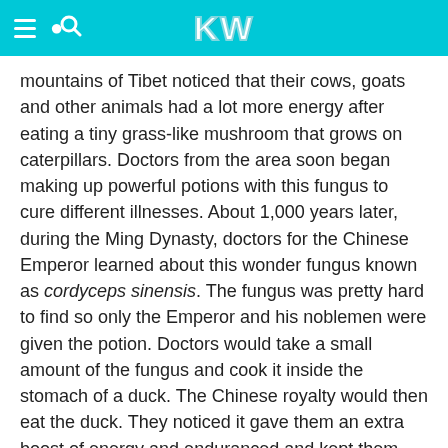KW
mountains of Tibet noticed that their cows, goats and other animals had a lot more energy after eating a tiny grass-like mushroom that grows on caterpillars. Doctors from the area soon began making up powerful potions with this fungus to cure different illnesses. About 1,000 years later, during the Ming Dynasty, doctors for the Chinese Emperor learned about this wonder fungus known as cordyceps sinensis. The fungus was pretty hard to find so only the Emperor and his noblemen were given the potion. Doctors would take a small amount of the fungus and cook it inside the stomach of a duck. The Chinese royalty would then eat the duck. They noticed it gave them an extra boost of energy and enduranced and kept them from getting sick.
Fungus Makes You Faster
In the 1990's, Chinese runners began using the fungus to see if it would improve their performance. The results?